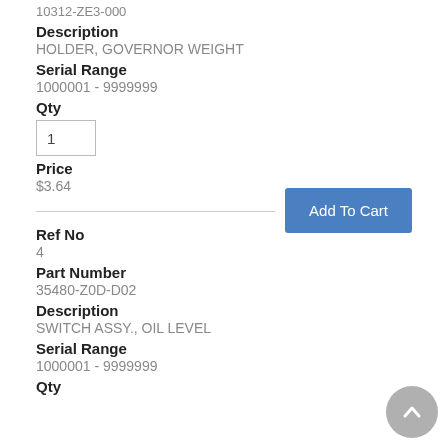10312-ZE3-000
Description
HOLDER, GOVERNOR WEIGHT
Serial Range
1000001 - 9999999
Qty
1
Price
$3.64
Add To Cart
Ref No
4
Part Number
35480-Z0D-D02
Description
SWITCH ASSY., OIL LEVEL
Serial Range
1000001 - 9999999
Qty